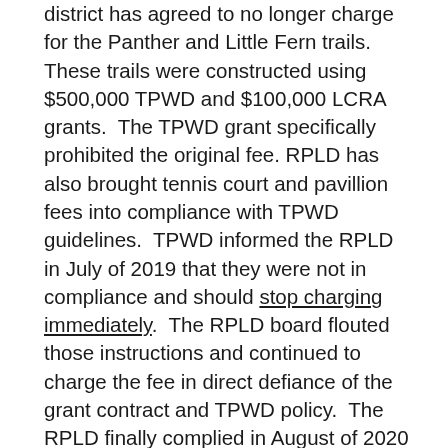district has agreed to no longer charge for the Panther and Little Fern trails. These trails were constructed using $500,000 TPWD and $100,000 LCRA grants.  The TPWD grant specifically prohibited the original fee. RPLD has also brought tennis court and pavillion fees into compliance with TPWD guidelines.  TPWD informed the RPLD in July of 2019 that they were not in compliance and should stop charging immediately.  The RPLD board flouted those instructions and continued to charge the fee in direct defiance of the grant contract and TPWD policy.  The RPLD finally complied in August of 2020 after attornies for TPWD threatened to take action against the RPLD.  All Texas taxpayers should appreciate the efforts of TPWD to ensure that Texas funded parks, trails, and other